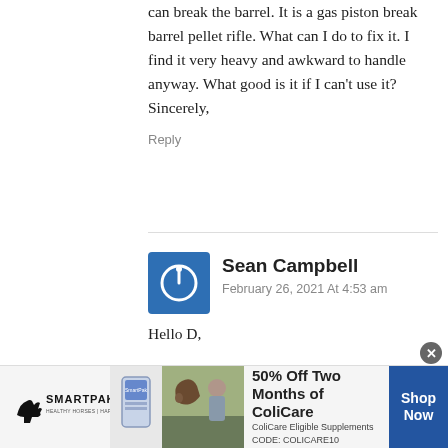can break the barrel. It is a gas piston break barrel pellet rifle. What can I do to fix it. I find it very heavy and awkward to handle anyway. What good is it if I can't use it? Sincerely,
Reply
Sean Campbell
February 26, 2021 At 4:53 am
Hello D,
[Figure (infographic): Amazon rainforest protection advertisement showing a monkey with green leaves, text reading 'Just $2 can protect 1 acre of irreplaceable forest homes in the Amazon. How many acres will you protect?' with a green 'PROTECT FORESTS NOW' button]
[Figure (infographic): SmartPak advertisement showing logo with horse, product image, horse photo, text '50% Off Two Months of ColiCare, ColiCare Eligible Supplements CODE: COLICARE10' and a blue 'Shop Now' button]